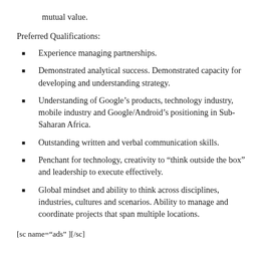mutual value.
Preferred Qualifications:
Experience managing partnerships.
Demonstrated analytical success. Demonstrated capacity for developing and understanding strategy.
Understanding of Google’s products, technology industry, mobile industry and Google/Android’s positioning in Sub-Saharan Africa.
Outstanding written and verbal communication skills.
Penchant for technology, creativity to “think outside the box” and leadership to execute effectively.
Global mindset and ability to think across disciplines, industries, cultures and scenarios. Ability to manage and coordinate projects that span multiple locations.
[sc name=“ads” ][/sc]